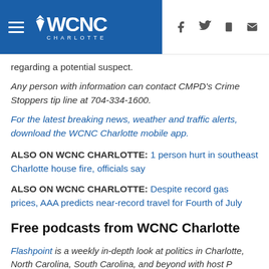WCNC Charlotte
regarding a potential suspect.
Any person with information can contact CMPD's Crime Stoppers tip line at 704-334-1600.
For the latest breaking news, weather and traffic alerts, download the WCNC Charlotte mobile app.
ALSO ON WCNC CHARLOTTE: 1 person hurt in southeast Charlotte house fire, officials say
ALSO ON WCNC CHARLOTTE: Despite record gas prices, AAA predicts near-record travel for Fourth of July
Free podcasts from WCNC Charlotte
Flashpoint is a weekly in-depth look at politics in Charlotte, North Carolina, South Carolina, and beyond with host P…